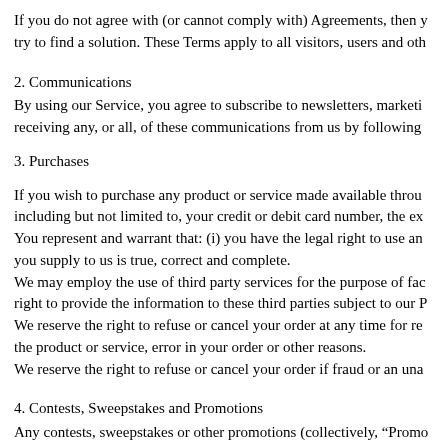If you do not agree with (or cannot comply with) Agreements, then you may try to find a solution. These Terms apply to all visitors, users and oth...
2. Communications
By using our Service, you agree to subscribe to newsletters, marketi... receiving any, or all, of these communications from us by following...
3. Purchases
If you wish to purchase any product or service made available throu... including but not limited to, your credit or debit card number, the ex... You represent and warrant that: (i) you have the legal right to use an... you supply to us is true, correct and complete. We may employ the use of third party services for the purpose of fac... right to provide the information to these third parties subject to our P... We reserve the right to refuse or cancel your order at any time for re... the product or service, error in your order or other reasons. We reserve the right to refuse or cancel your order if fraud or an una...
4. Contests, Sweepstakes and Promotions
Any contests, sweepstakes or other promotions (collectively, "Promo... of Service. If you participate in any Promotions, please review the ap... Service, Promotion rules will apply.